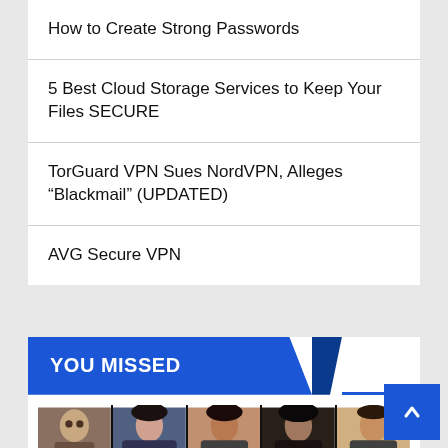How to Create Strong Passwords
5 Best Cloud Storage Services to Keep Your Files SECURE
TorGuard VPN Sues NordVPN, Alleges “Blackmail” (UPDATED)
AVG Secure VPN
YOU MISSED
[Figure (photo): Strip of five portrait photos of people]